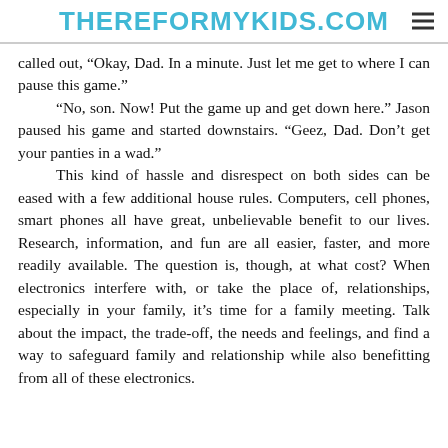THEREFORMYKIDS.COM
called out, “Okay, Dad. In a minute. Just let me get to where I can pause this game."
“No, son. Now! Put the game up and get down here.” Jason paused his game and started downstairs. “Geez, Dad. Don’t get your panties in a wad.”
This kind of hassle and disrespect on both sides can be eased with a few additional house rules. Computers, cell phones, smart phones all have great, unbelievable benefit to our lives. Research, information, and fun are all easier, faster, and more readily available. The question is, though, at what cost? When electronics interfere with, or take the place of, relationships, especially in your family, it’s time for a family meeting. Talk about the impact, the trade-off, the needs and feelings, and find a way to safeguard family and relationship while also benefitting from all of these electronics.